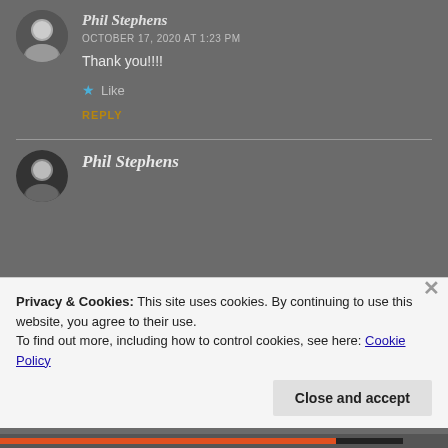[Figure (photo): Avatar photo of a man (Phil Stephens), circular crop, top-left comment area]
Phil Stephens
OCTOBER 17, 2020 AT 1:23 PM
Thank you!!!!
★ Like
REPLY
[Figure (photo): Avatar photo of Phil Stephens, circular crop, second comment area]
Phil Stephens
Privacy & Cookies: This site uses cookies. By continuing to use this website, you agree to their use.
To find out more, including how to control cookies, see here: Cookie Policy
Close and accept